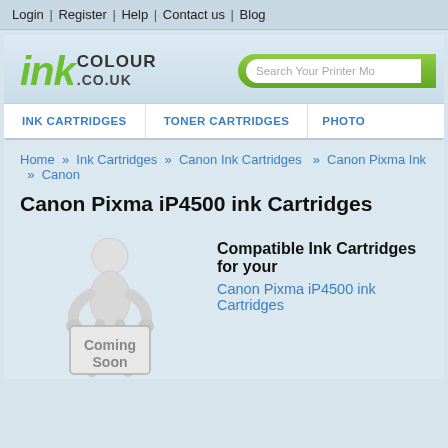Login | Register | Help | Contact us | Blog
[Figure (logo): inkcolour.co.uk logo in green and black text]
[Figure (screenshot): Search Your Printer Model search bar with green rounded button]
INK CARTRIDGES
TONER CARTRIDGES
PHOTO
Home » Ink Cartridges » Canon Ink Cartridges » Canon Pixma Ink » Canon
Canon Pixma iP4500 ink Cartridges
[Figure (illustration): 3D figure holding a Coming Soon sign]
Compatible Ink Cartridges for your
Canon Pixma iP4500 ink Cartridges